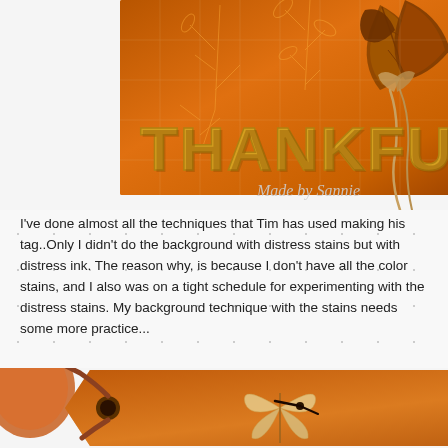[Figure (photo): A crafted tag with the word THANKFUL in large gold letters on an orange background with botanical stamp designs, autumn leaves, and a twine bow. Watermark text 'Made by Sannie' in silver italic script.]
I've done almost all the techniques that Tim has used making his tag..Only I didn't do the background with distress stains but with distress ink. The reason why, is because I don't have all the color stains, and I also was on a tight schedule for experimenting with the distress stains. My background technique with the stains needs some more practice...
[Figure (photo): Close-up photo of a vintage-style orange craft tag with a butterfly stamp impression, a metal brad/eyelet, clock hands, and handwritten text visible. A pumpkin is partially visible at the left edge.]